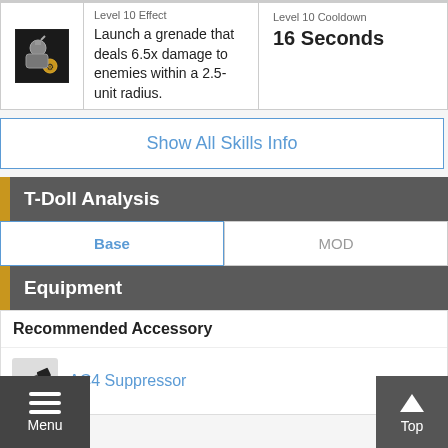| Icon | Level 10 Effect | Level 10 Cooldown |
| --- | --- | --- |
| [skill icon] | Launch a grenade that deals 6.5x damage to enemies within a 2.5-unit radius. | 16 Seconds |
Show All Skills Info
T-Doll Analysis
Base | MOD
Equipment
Recommended Accessory
AC4 Suppressor